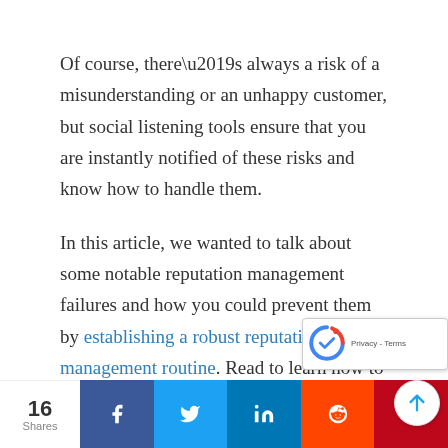Of course, there’s always a risk of a misunderstanding or an unhappy customer, but social listening tools ensure that you are instantly notified of these risks and know how to handle them.
In this article, we wanted to talk about some notable reputation management failures and how you could prevent them by establishing a robust reputation management routine. Read to learn how to prevent or respond to reputational crises and how to analyze your
16 Shares | Share buttons: Facebook, Twitter, LinkedIn, Reddit, Pinterest